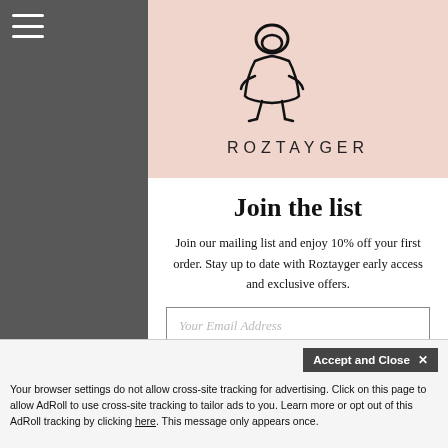[Figure (logo): Roztayger brand logo: abstract figure illustration in black brushstroke style above the wordmark ROZTAYGER in spaced capital letters]
Join the list
Join our mailing list and enjoy 10% off your first order. Stay up to date with Roztayger early access and exclusive offers.
Your Email Address
Accept and Close ✕
Your browser settings do not allow cross-site tracking for advertising. Click on this page to allow AdRoll to use cross-site tracking to tailor ads to you. Learn more or opt out of this AdRoll tracking by clicking here. This message only appears once.